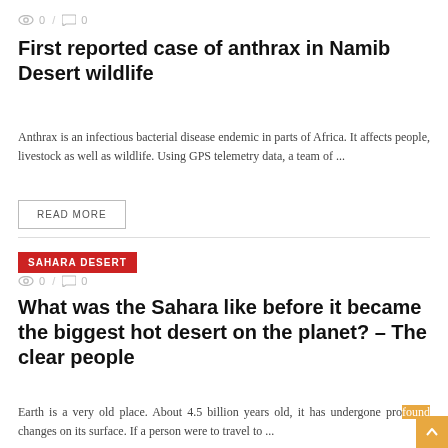0 / 0
First reported case of anthrax in Namib Desert wildlife
Anthrax is an infectious bacterial disease endemic in parts of Africa. It affects people, livestock as well as wildlife. Using GPS telemetry data, a team of ...
READ MORE
SAHARA DESERT
0 / 0
What was the Sahara like before it became the biggest hot desert on the planet? – The clear people
Earth is a very old place. About 4.5 billion years old, it has undergone profound changes on its surface. If a person were to travel to ...